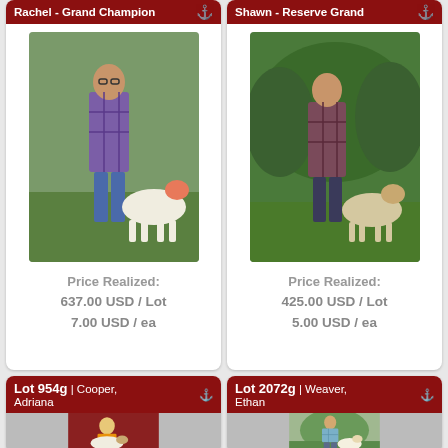Rachel - Grand Champion
Price Realized:
637.00 USD / Lot
7.00 USD / ea
Shawn - Reserve Grand
Price Realized:
425.00 USD / Lot
5.00 USD / ea
Lot 954g | Cooper, Adriana
Lot 2072g | Weaver, Ethan
[Figure (photo): Person standing with a goat outdoors]
[Figure (photo): Person standing with a goat outdoors near trees]
[Figure (photo): Person holding a goat indoors with red backdrop]
[Figure (photo): Young person standing with a goat outdoors]